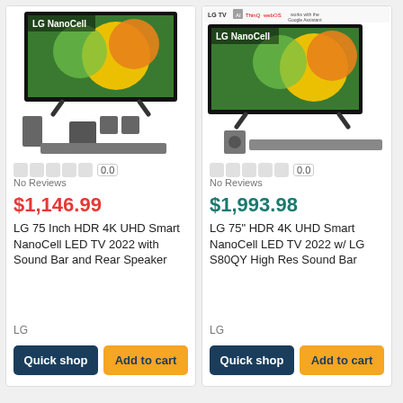[Figure (photo): LG NanoCell TV with soundbar and rear speakers product image]
0.0
No Reviews
$1,146.99
LG 75 Inch HDR 4K UHD Smart NanoCell LED TV 2022 with Sound Bar and Rear Speaker
LG
[Figure (photo): LG NanoCell TV with S80QY soundbar product image, with LG TV AI ThinQ webOS Google Assistant logos]
0.0
No Reviews
$1,993.98
LG 75" HDR 4K UHD Smart NanoCell LED TV 2022 w/ LG S80QY High Res Sound Bar
LG